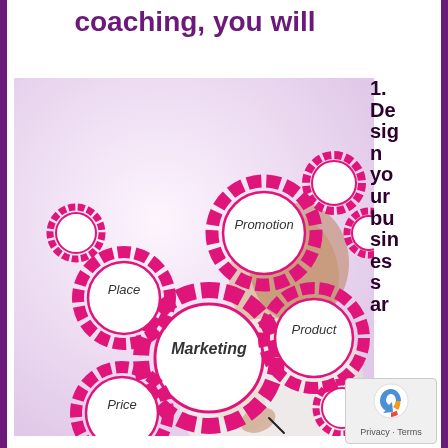coaching, you will
[Figure (illustration): A blurred woman holding a pen drawing/pointing to a marketing gear diagram with interlocking pink/magenta gears labeled: Marketing (center, large), Promotion (top), Place (left), Price (bottom-left), Product (right), and two unlabeled smaller gears.]
1. Design your business ar...
Privacy · Terms